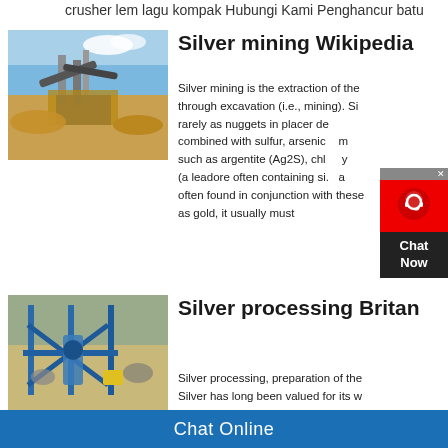crusher lem lagu kompak Hubungi Kami Penghancur batu
[Figure (photo): Mining/crusher industrial site with machinery and excavation equipment under blue sky]
Silver mining Wikipedia
Silver mining is the extraction of the through excavation (i.e., mining). Si rarely as nuggets in placer de combined with sulfur, arsenic m such as argentite (Ag2S), chl y (a leadore often containing si. a often found in conjunction with these as gold, it usually must
[Figure (photo): Silver processing industrial equipment with blue metal framework and machinery]
Silver processing Britan
Silver processing, preparation of the Silver has long been valued for its w readily worked, and its resistance to
Chat Online